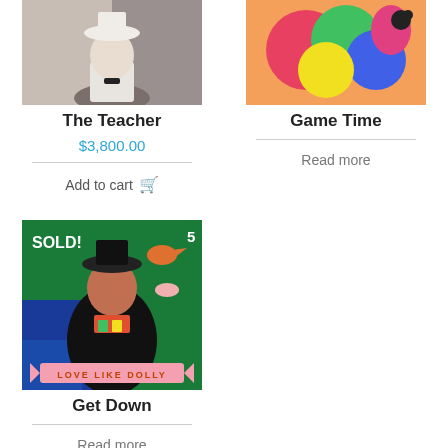[Figure (photo): Artwork image: The Teacher - a figure with white hat on grey/brown background]
The Teacher
$3,800.00
Add to cart
[Figure (photo): Artwork image: Game Time - colorful abstract figures on pink/orange background]
Game Time
Read more
[Figure (photo): Artwork image: Get Down - SOLD! banner, figure with hat, green and blue background, 'Love Like Dolly' banner at bottom, number 5 in corner]
Get Down
Read more